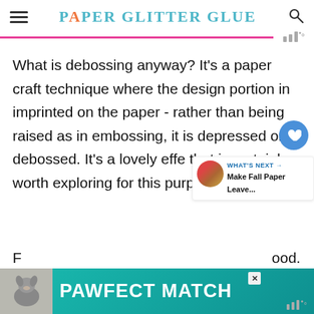Paper Glitter Glue
What is debossing anyway? It's a paper craft technique where the design portion in imprinted on the paper - rather than being raised as in embossing, it is depressed or debossed. It's a lovely effe that is certainly worth exploring for this purpose.
[Figure (screenshot): Advertisement banner reading PAWFECT MATCH with a dog image on teal background]